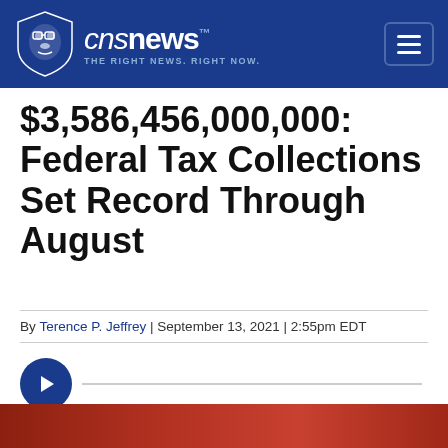CNSNews - THE RIGHT NEWS. RIGHT NOW.
$3,586,456,000,000: Federal Tax Collections Set Record Through August
By Terence P. Jeffrey | September 13, 2021 | 2:55pm EDT
[Figure (other): Audio player play button and progress bar, followed by icon toolbar with text size, print, email, Facebook, and Twitter icons]
[Figure (photo): Partial image strip at bottom of page, appears to be a news photo]